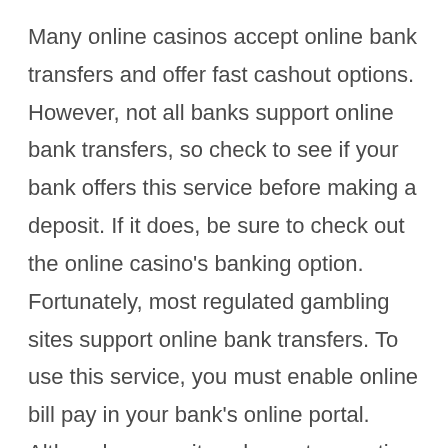Many online casinos accept online bank transfers and offer fast cashout options. However, not all banks support online bank transfers, so check to see if your bank offers this service before making a deposit. If it does, be sure to check out the online casino's banking option. Fortunately, most regulated gambling sites support online bank transfers. To use this service, you must enable online bill pay in your bank's online portal. Although some sites charge transaction fees, these are typically not significant when compared to the amount of money you can withdraw.